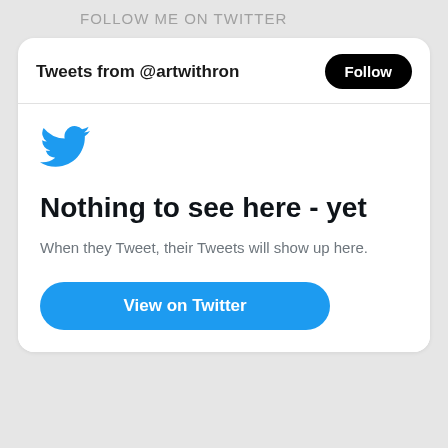FOLLOW ME ON TWITTER
Tweets from @artwithron
[Figure (logo): Twitter bird logo in blue]
Nothing to see here - yet
When they Tweet, their Tweets will show up here.
View on Twitter